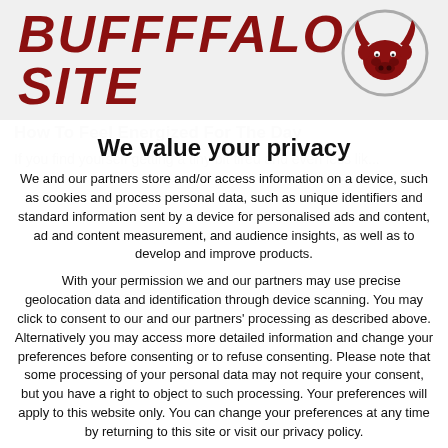BUFFFFALO SITE
We value your privacy
We and our partners store and/or access information on a device, such as cookies and process personal data, such as unique identifiers and standard information sent by a device for personalised ads and content, ad and content measurement, and audience insights, as well as to develop and improve products.
With your permission we and our partners may use precise geolocation data and identification through device scanning. You may click to consent to our and our partners' processing as described above. Alternatively you may access more detailed information and change your preferences before consenting or to refuse consenting. Please note that some processing of your personal data may not require your consent, but you have a right to object to such processing. Your preferences will apply to this website only. You can change your preferences at any time by returning to this site or visit our privacy policy.